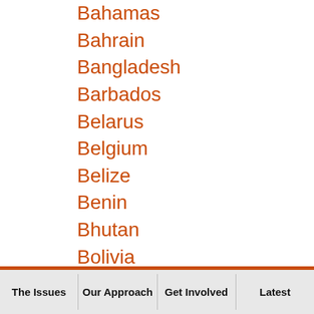Bahamas
Bahrain
Bangladesh
Barbados
Belarus
Belgium
Belize
Benin
Bhutan
Bolivia
Bosnia and Herzegovina
Botswana
Brazil
Brunei
The Issues | Our Approach | Get Involved | Latest